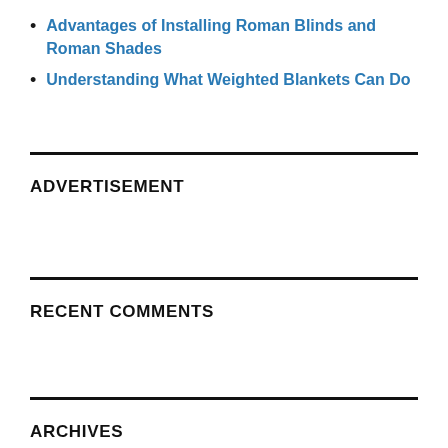Advantages of Installing Roman Blinds and Roman Shades
Understanding What Weighted Blankets Can Do
ADVERTISEMENT
RECENT COMMENTS
ARCHIVES